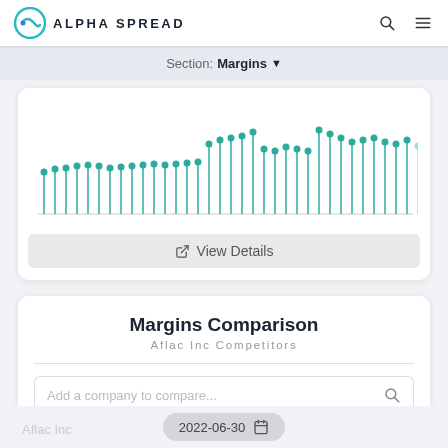ALPHA SPREAD
Section: Margins
[Figure (other): Lollipop chart showing margin values over time with teal/green stems and circle tops. Last point is light blue. Approximately 35 data points with varying heights.]
View Details
Margins Comparison
Aflac Inc Competitors
Add a company to compare...
2022-06-30
Aflac Inc